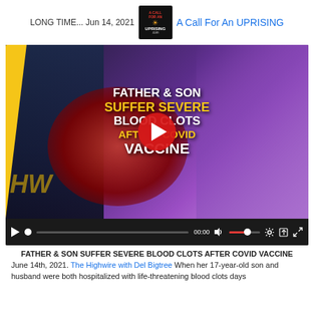LONG TIME... Jun 14, 2021  A Call For An UPRISING
[Figure (screenshot): Video thumbnail showing text 'FATHER & SON SUFFER SEVERE BLOOD CLOTS AFTER COVID VACCINE' with red play button in center, blood cell imagery, and virus imagery on purple background. Video player controls visible at bottom showing 00:00 timestamp.]
FATHER & SON SUFFER SEVERE BLOOD CLOTS AFTER COVID VACCINE
June 14th, 2021. The Highwire with Del Bigtree When her 17-year-old son and husband were both hospitalized with life-threatening blood clots days